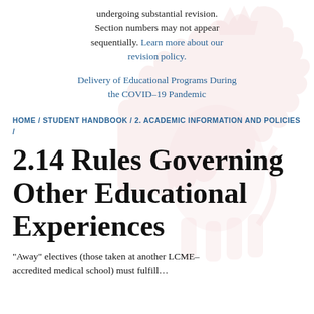undergoing substantial revision. Section numbers may not appear sequentially. Learn more about our revision policy.
Delivery of Educational Programs During the COVID–19 Pandemic
HOME / STUDENT HANDBOOK / 2. ACADEMIC INFORMATION AND POLICIES /
2.14 Rules Governing Other Educational Experiences
"Away" electives (those taken at another LCME–accredited medical school) must fulfill…